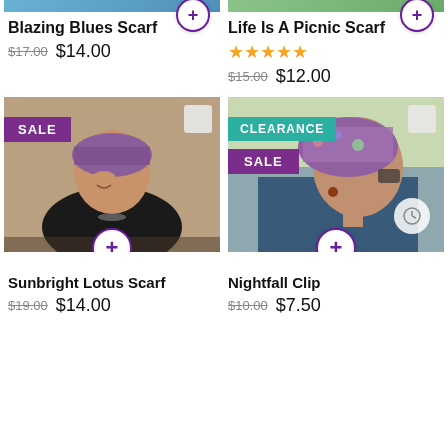[Figure (photo): Partial top strip of product image for Blazing Blues Scarf]
Blazing Blues Scarf
$17.00  $14.00
[Figure (photo): Partial top strip of product image for Life Is A Picnic Scarf]
Life Is A Picnic Scarf
★★★★★
$15.00  $12.00
[Figure (photo): Woman wearing Sunbright Lotus Scarf, smiling, black sweater, park bench. SALE badge.]
Sunbright Lotus Scarf
$19.00  $14.00
[Figure (photo): Woman wearing Nightfall Clip colorful head covering, side profile. CLEARANCE and SALE badges.]
Nightfall Clip
$10.00  $7.50